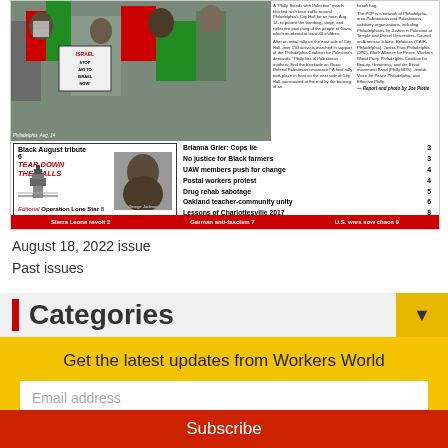[Figure (photo): Newspaper front page thumbnail showing a protest photo with demonstrators holding Palestinian flags and signs reading 'ISRAEL STOP AID TO ISRAEL NOW', with a table of contents listing articles and a 'Black August tribute' section]
August 18, 2022 issue
Past issues
Categories
Get the latest updates from Workers World
Email address
Subscribe